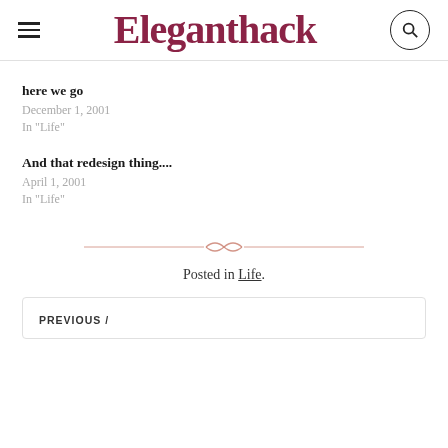Eleganthack
here we go
December 1, 2001
In "Life"
And that redesign thing....
April 1, 2001
In "Life"
[Figure (illustration): Decorative divider with two horizontal lines flanking a small ornamental figure]
Posted in Life.
PREVIOUS /